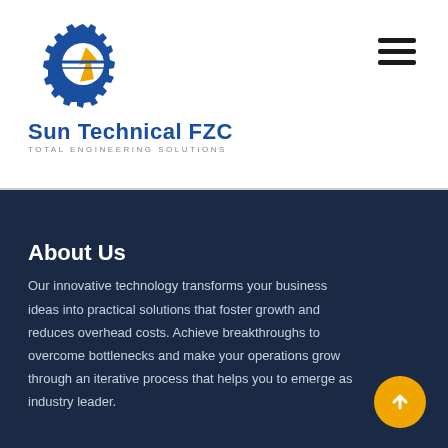[Figure (logo): Sun Technical FZC logo with gear and lightning bolt icon in blue and orange/yellow, above the company name in bold blue text and tagline 'Total Engineering Solutions' in gray spaced letters]
About Us
Our innovative technology transforms your business ideas into practical solutions that foster growth and reduces overhead costs. Achieve breakthroughs to overcome bottlenecks and make your operations grow through an iterative process that helps you to emerge as industry leader.